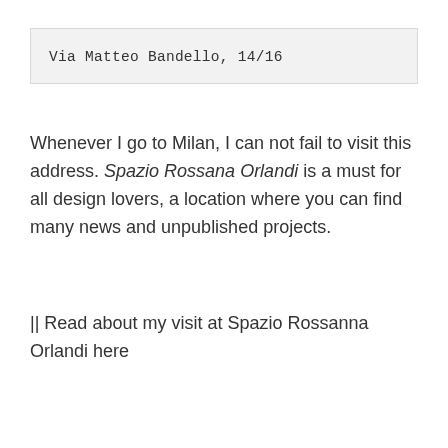Via Matteo Bandello, 14/16
Whenever I go to Milan, I can not fail to visit this address. Spazio Rossana Orlandi is a must for all design lovers, a location where you can find many news and unpublished projects.
|| Read about my visit at Spazio Rossanna Orlandi here